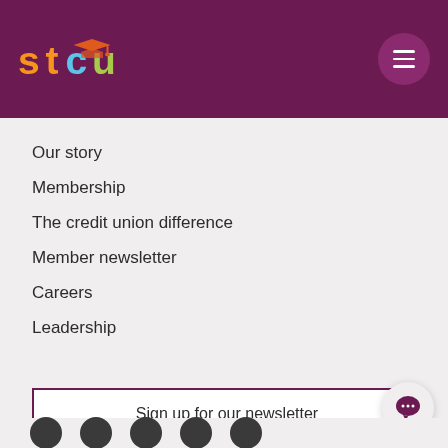[Figure (logo): STCU logo with colorful letters and graduation cap icon on dark purple background header]
Our story
Membership
The credit union difference
Member newsletter
Careers
Leadership
Sign up for our newsletter